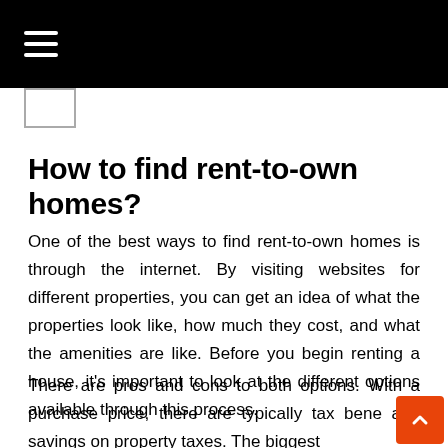≡
How to find rent-to-own homes?
One of the best ways to find rent-to-own homes is through the internet. By visiting websites for different properties, you can get an idea of what the properties look like, how much they cost, and what the amenities are like. Before you begin renting a house, it's important to look at the different options available through this process.
There are pros and cons to both options. With a purchase price, there are typically tax bene... and savings on property taxes. The biggest